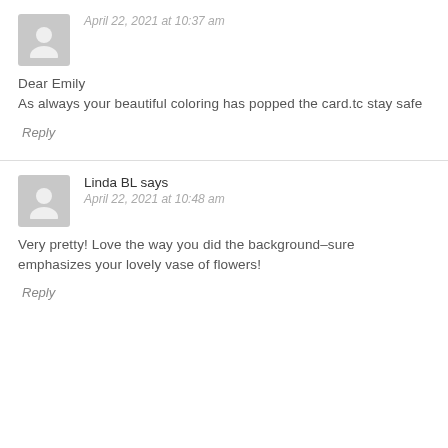April 22, 2021 at 10:37 am
Dear Emily
As always your beautiful coloring has popped the card.tc stay safe
Reply
Linda BL says
April 22, 2021 at 10:48 am
Very pretty! Love the way you did the background–sure emphasizes your lovely vase of flowers!
Reply